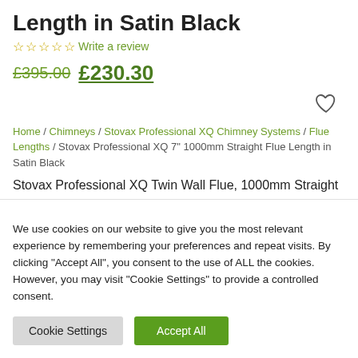Length in Satin Black
☆☆☆☆☆ Write a review
£395.00  £230.30
Home / Chimneys / Stovax Professional XQ Chimney Systems / Flue Lengths / Stovax Professional XQ 7" 1000mm Straight Flue Length in Satin Black
Stovax Professional XQ Twin Wall Flue, 1000mm Straight
We use cookies on our website to give you the most relevant experience by remembering your preferences and repeat visits. By clicking "Accept All", you consent to the use of ALL the cookies. However, you may visit "Cookie Settings" to provide a controlled consent.
Cookie Settings | Accept All